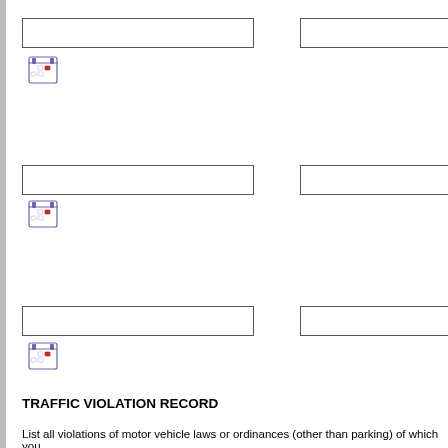[Figure (other): Form input field (text box), row 1 left]
[Figure (other): Form input field (text box), row 1 right]
[Figure (other): Calendar date picker icon, row 1]
[Figure (other): Form input field (text box), row 2 left]
[Figure (other): Form input field (text box), row 2 right]
[Figure (other): Calendar date picker icon, row 2]
[Figure (other): Form input field (text box), row 3 left]
[Figure (other): Form input field (text box), row 3 right]
[Figure (other): Calendar date picker icon, row 3]
TRAFFIC VIOLATION RECORD
List all violations of motor vehicle laws or ordinances (other than parking) of which you